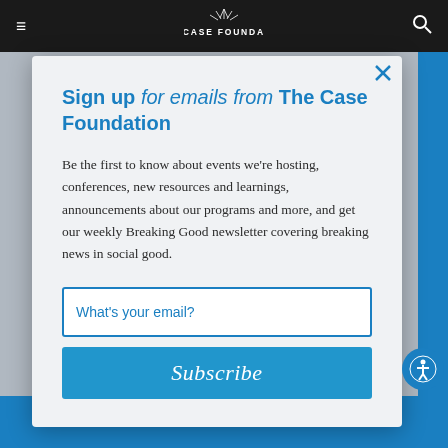THE CASE FOUNDATION
Sign up for emails from The Case Foundation
Be the first to know about events we're hosting, conferences, new resources and learnings, announcements about our programs and more, and get our weekly Breaking Good newsletter covering breaking news in social good.
What's your email?
Subscribe
Back to What's New